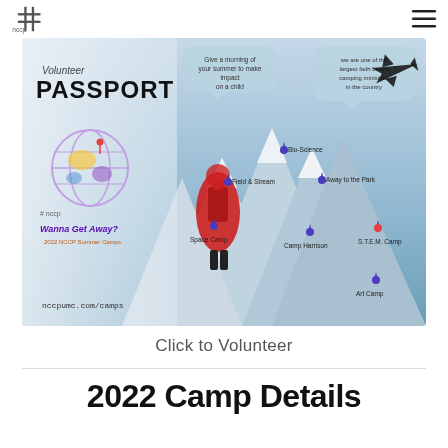NCCP logo and navigation menu
[Figure (infographic): Volunteer Passport banner for 2022 NCCP Summer Camps. Left panel shows 'Volunteer PASSPORT' text with a globe illustration and 'Wanna Get Away?' tagline, nccpumc.com/camps URL. Right panel shows a mountain/glacier background with a hiker in red gear, an airplane silhouette, speech bubbles reading 'Give a morning of your summer to make impact on a child' and 'we are one of the largest faith based camping ministries in the country', and map location pins for Bio-Science, Field & Stream, Away to the Park, Space Camp, Camp Harrison, S.T.E.M. Camp, Art Camp.]
Click to Volunteer
2022 Camp Details